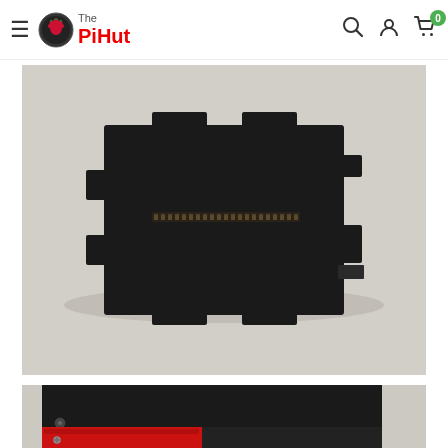The PiHut — navigation header with logo, search, account, and cart icons
[Figure (photo): Top-down view of a black Raspberry Pi case/enclosure with tab connectors and a GPIO pin strip visible in the center, photographed on a white/light grey surface]
[Figure (photo): Partial view of the bottom of the same black Raspberry Pi case showing corner screws and a red PCB visible at the base, photographed against a white background]